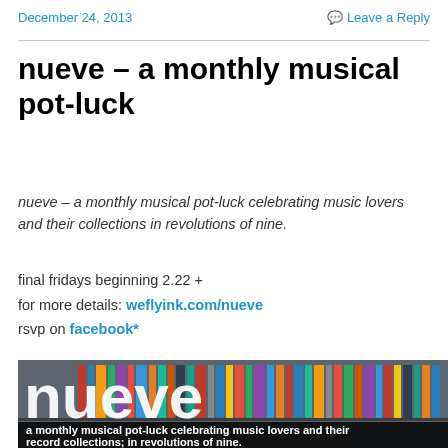December 24, 2013    Leave a Reply
nueve – a monthly musical pot-luck
nueve – a monthly musical pot-luck celebrating music lovers and their collections in revolutions of nine.
final fridays beginning 2.22 +
for more details: weflyink.com/nueve
rsvp on facebook*
[Figure (photo): Image of record/album collection in the background with large white text 'nueve' overlaid. Bottom bar shows caption text: 'a monthly musical pot-luck celebrating music lovers and their record collections; in revolutions of nine.']